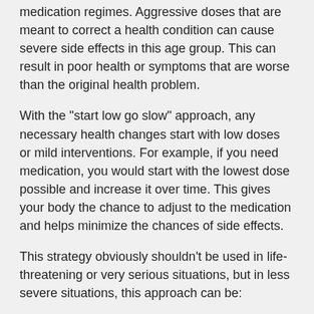medication regimes. Aggressive doses that are meant to correct a health condition can cause severe side effects in this age group. This can result in poor health or symptoms that are worse than the original health problem.
With the "start low go slow" approach, any necessary health changes start with low doses or mild interventions. For example, if you need medication, you would start with the lowest dose possible and increase it over time. This gives your body the chance to adjust to the medication and helps minimize the chances of side effects.
This strategy obviously shouldn't be used in life-threatening or very serious situations, but in less severe situations, this approach can be:
Safe
Gentle